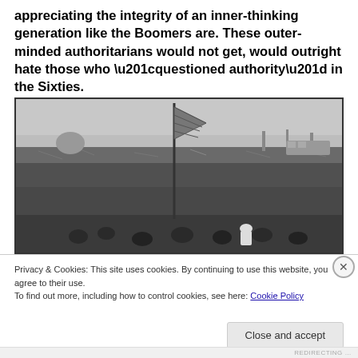appreciating the integrity of an inner-thinking generation like the Boomers are. These outer-minded authoritarians would not get, would outright hate those who “questioned authority” in the Sixties.
[Figure (photo): Black and white photograph of a large outdoor crowd gathering, with a flag or banner raised on a tall pole in the center, stretching across a wide open field.]
Privacy & Cookies: This site uses cookies. By continuing to use this website, you agree to their use.
To find out more, including how to control cookies, see here: Cookie Policy